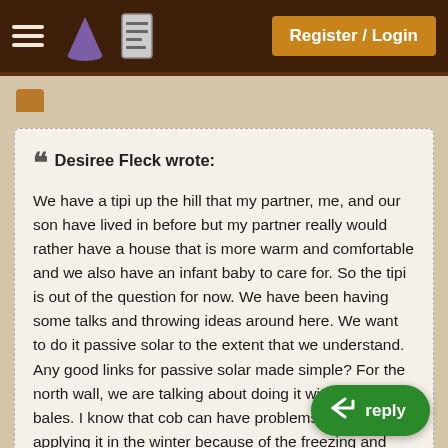Register / Login
" Desiree Fleck wrote:
We have a tipi up the hill that my partner, me, and our son have lived in before but my partner really would rather have a house that is more warm and comfortable and we also have an infant baby to care for. So the tipi is out of the question for now. We have been having some talks and throwing ideas around here. We want to do it passive solar to the extent that we understand. Any good links for passive solar made simple? For the north wall, we are talking about doing it with straw bales. I know that cob can have problems when applying it in the winter because of the freezing and thawing temps so we are talking about putting metal siding on the outside of the straw bale and doing a lime cob mix for the inside wall. The re... we will probably do more conventionally and side with wood, because we need to finish the job quickly.